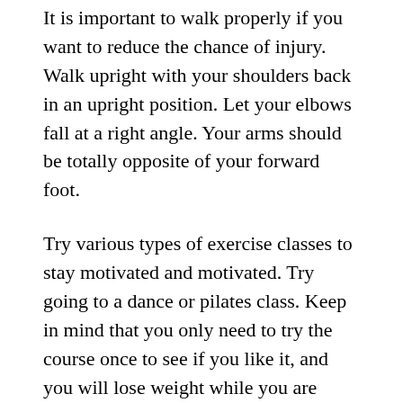It is important to walk properly if you want to reduce the chance of injury. Walk upright with your shoulders back in an upright position. Let your elbows fall at a right angle. Your arms should be totally opposite of your forward foot.
Try various types of exercise classes to stay motivated and motivated. Try going to a dance or pilates class. Keep in mind that you only need to try the course once to see if you like it, and you will lose weight while you are doing it.
A personal trainer can be a good investment for those who are dedicated to always improving their fitness level. Personal trainers have a rigid workout routine.